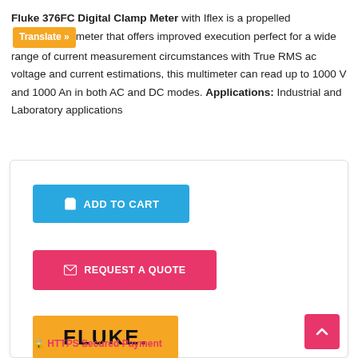Fluke 376FC Digital Clamp Meter with Iflex is a propelled meter that offers improved execution perfect for a wide range of current measurement circumstances with True RMS ac voltage and current estimations, this multimeter can read up to 1000 V and 1000 An in both AC and DC modes. Applications: Industrial and Laboratory applications
[Figure (screenshot): Add to Cart button (blue), Request a Quote button (pink/red), Fluke brand logo (yellow background), WhatsApp icon (green circle), back-to-top button (pink), HTTPS Secured Payment footer text]
HTTPS Secured Payment